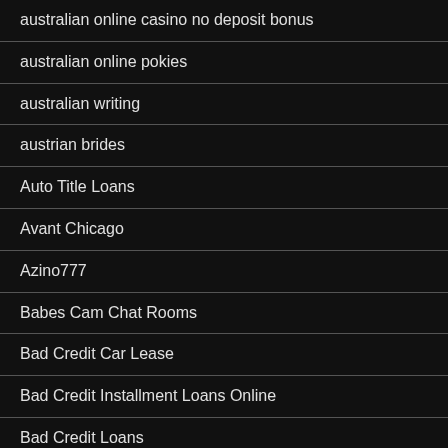australian online casino no deposit bonus
australian online pokies
australian writing
austrian brides
Auto Title Loans
Avant Chicago
Azino777
Babes Cam Chat Rooms
Bad Credit Car Lease
Bad Credit Installment Loans Online
Bad Credit Loans
Bad Credit Online Loans
Bad Credit Payday Loans Guaranteed Approval